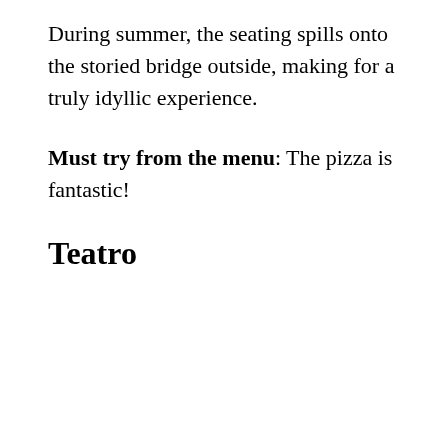During summer, the seating spills onto the storied bridge outside, making for a truly idyllic experience.
Must try from the menu: The pizza is fantastic!
Teatro